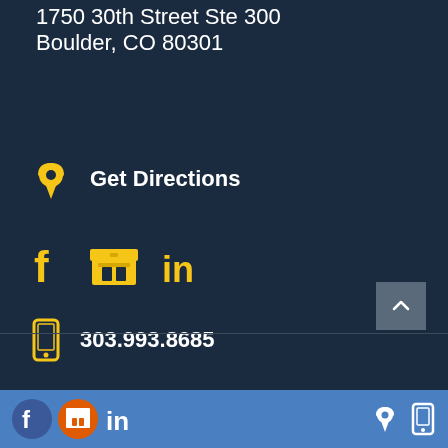1750 30th Street Ste 300
Boulder, CO 80301
Get Directions
Social icons: Facebook, Store, LinkedIn
303.993.8685
Text 303-225-9101
Footer bar with social icons and contact icons